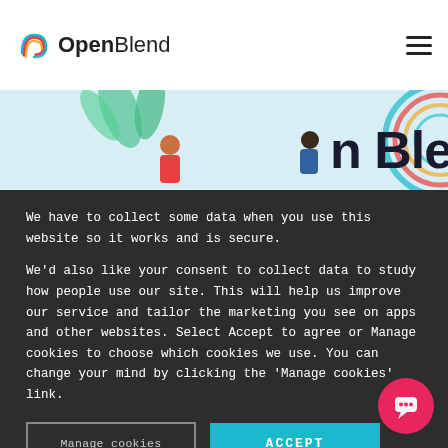OpenBlend
[Figure (illustration): Hero banner with illustrated figures and colorful arcs, showing partial text 'n Blend']
We have to collect some data when you use this website so it works and is secure.
We'd also like your consent to collect data to study how people use our site. This will help us improve our service and tailor the marketing you see on apps and other websites. Select Accept to agree or Manage cookies to choose which cookies we use. You can change your mind by clicking the 'Manage cookies' link.
Manage cookies
ACCEPT